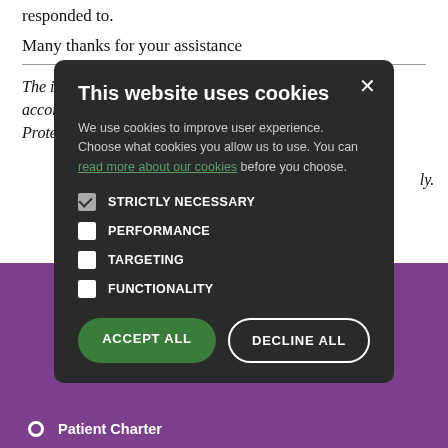responded to.
Many thanks for your assistance
The information you supply us will be used lawfully, in accordance with the Data Protection Act 1998. The Data Protection Act 1998 gives you the right to know what [information we hold about you] and sets out rules to make [sure that it is used fairly and responsibly].
[Figure (screenshot): Cookie consent modal dialog on a dark background (#2a2a2a). Title: 'This website uses cookies'. Body text explaining cookie usage with a link 'read more about our cookies'. Four checkbox options: STRICTLY NECESSARY (checked), PERFORMANCE, TARGETING, FUNCTIONALITY. Two buttons: ACCEPT ALL (green) and DECLINE ALL (outlined white).]
Patient Charter